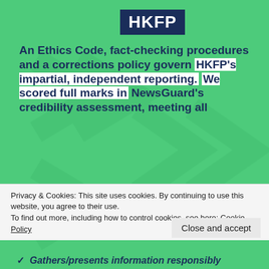[Figure (logo): HKFP logo — white text on dark navy blue background]
An Ethics Code, fact-checking procedures and a corrections policy govern HKFP's impartial, independent reporting. We scored full marks in NewsGuard's credibility assessment, meeting all 9 criteria:
✓ No false content
Privacy & Cookies: This site uses cookies. By continuing to use this website, you agree to their use. To find out more, including how to control cookies, see here: Cookie Policy
Close and accept
✓ Gathers/presents information responsibly